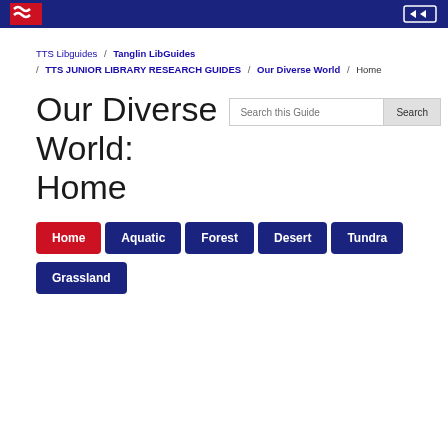[Figure (screenshot): Dark navy header bar with red and white logo on left, icon on right]
TTS Libguides / Tanglin LibGuides / TTS JUNIOR LIBRARY RESEARCH GUIDES / Our Diverse World / Home
Our Diverse World: Home
Search this Guide [Search button]
Home
Aquatic
Forest
Desert
Tundra
Grassland